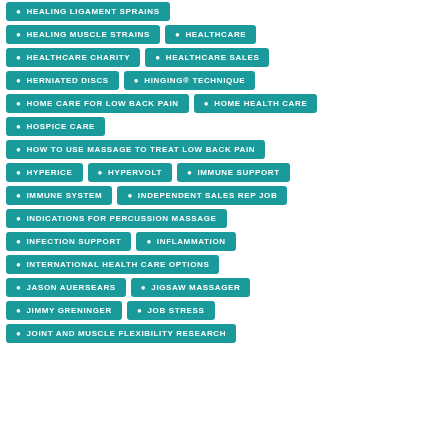HEALING LIGAMENT SPRAINS
HEALING MUSCLE STRAINS
HEALTHCARE
HEALTHCARE CHARITY
HEALTHCARE SALES
HERNIATED DISCS
HINGING® TECHNIQUE
HOME CARE FOR LOW BACK PAIN
HOME HEALTH CARE
HOSPICE CARE
HOW TO USE MASSAGE TO TREAT LOW BACK PAIN
HYPERICE
HYPERVOLT
IMMUNE SUPPORT
IMMUNE SYSTEM
INDEPENDENT SALES REP JOB
INDICATIONS FOR PERCUSSION MASSAGE
INFECTION SUPPORT
INFLAMMATION
INTERNATIONAL HEALTH CARE OPTIONS
JASON AUERSEARS
JIGSAW MASSAGER
JIMMY GRENINGER
JOB STRESS
JOINT AND MUSCLE FLEXIBILITY RESEARCH